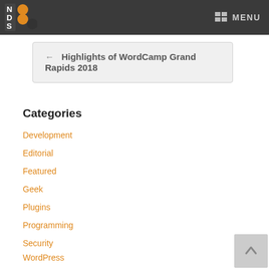NDS logo and MENU navigation header
← Highlights of WordCamp Grand Rapids 2018
Categories
Development
Editorial
Featured
Geek
Plugins
Programming
Security
WordPress